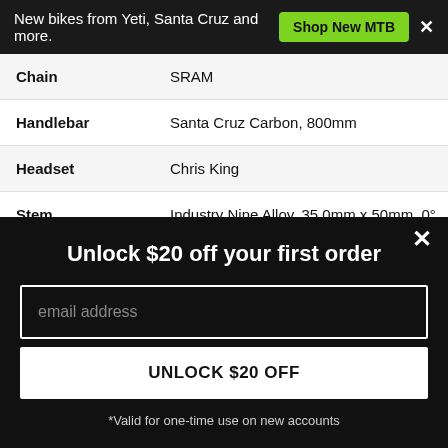New bikes from Yeti, Santa Cruz and more. Shop New MTB ×
| Component | Specification |
| --- | --- |
| Chain | SRAM |
| Handlebar | Santa Cruz Carbon, 800mm |
| Headset | Chris King |
| Stem | Industry Nine Alloy, 35.0mm x 50mm, 0° |
|  | RockShox Reverb Stealth, |
Unlock $20 off your first order
email address
UNLOCK $20 OFF
*Valid for one-time use on new accounts